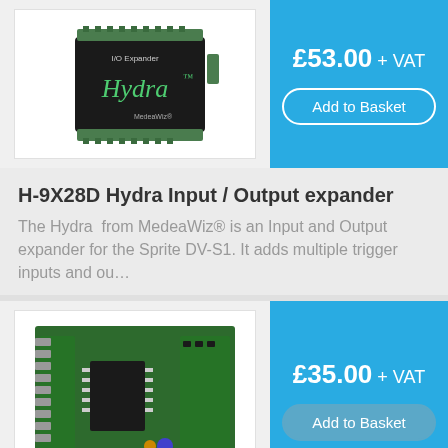[Figure (photo): Black Hydra I/O Expander device by MedeaWiz with green connectors]
£53.00 + VAT
Add to Basket
H-9X28D Hydra Input / Output expander
The Hydra  from MedeaWiz® is an Input and Output expander for the Sprite DV-S1. It adds multiple trigger inputs and ou…
[Figure (photo): Green circuit board expansion module]
£35.00 + VAT
Add to Basket